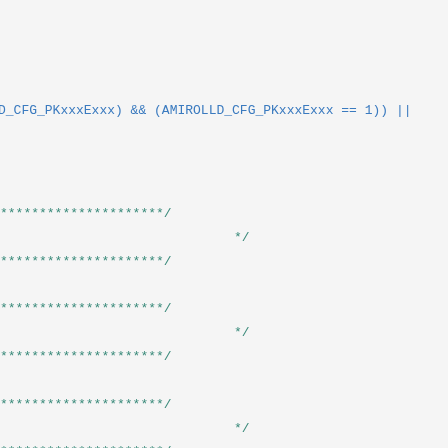D_CFG_PKxxxExxx) && (AMIROLLD_CFG_PKxxxExxx == 1)) ||
*********************/ */  *********************/ *********************/ */ *********************/ *********************/ */ *********************/ *********************/ */ *********************/